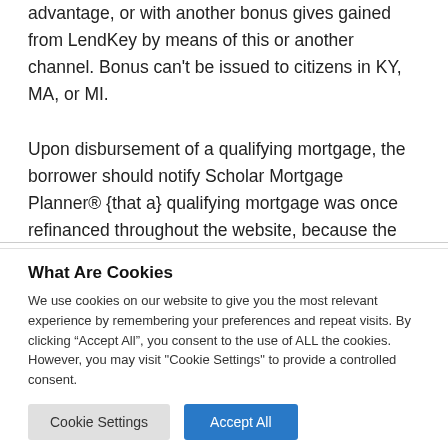advantage, or with another bonus gives gained from LendKey by means of this or another channel. Bonus can't be issued to citizens in KY, MA, or MI.
Upon disbursement of a qualifying mortgage, the borrower should notify Scholar Mortgage Planner® {that a} qualifying mortgage was once refinanced throughout the website, because the lender does
What Are Cookies
We use cookies on our website to give you the most relevant experience by remembering your preferences and repeat visits. By clicking “Accept All”, you consent to the use of ALL the cookies. However, you may visit "Cookie Settings" to provide a controlled consent.